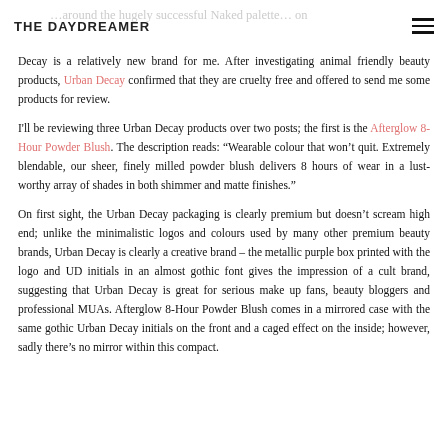THE DAYDREAMER
Decay is a relatively new brand for me. After investigating animal friendly beauty products, Urban Decay confirmed that they are cruelty free and offered to send me some products for review.
I'll be reviewing three Urban Decay products over two posts; the first is the Afterglow 8-Hour Powder Blush. The description reads: “Wearable colour that won’t quit. Extremely blendable, our sheer, finely milled powder blush delivers 8 hours of wear in a lust-worthy array of shades in both shimmer and matte finishes.”
On first sight, the Urban Decay packaging is clearly premium but doesn’t scream high end; unlike the minimalistic logos and colours used by many other premium beauty brands, Urban Decay is clearly a creative brand – the metallic purple box printed with the logo and UD initials in an almost gothic font gives the impression of a cult brand, suggesting that Urban Decay is great for serious make up fans, beauty bloggers and professional MUAs. Afterglow 8-Hour Powder Blush comes in a mirrored case with the same gothic Urban Decay initials on the front and a caged effect on the inside; however, sadly there’s no mirror within this compact.